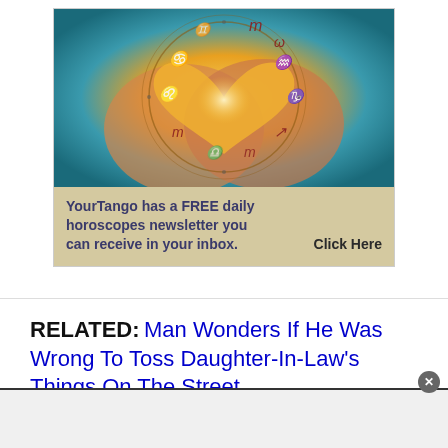[Figure (illustration): Advertisement image showing two hands forming a heart shape with zodiac symbols overlaid in a circular chart pattern, with warm glowing light in the center. Teal/golden color scheme.]
YourTango has a FREE daily horoscopes newsletter you can receive in your inbox.   Click Here
RELATED: Man Wonders If He Was Wrong To Toss Daughter-In-Law's Things On The Street